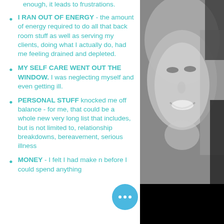enough, it leads to frustrations.
I RAN OUT OF ENERGY - the amount of energy required to do all that back room stuff as well as serving my clients, doing what I actually do, had me feeling drained and depleted.
MY SELF CARE WENT OUT THE WINDOW. I was neglecting myself and even getting ill.
PERSONAL STUFF knocked me off balance - for me, that could be a whole new very long list that includes, but is not limited to, relationship breakdowns, bereavement, serious illness
MONEY - I felt I had make n before I could spend anything
[Figure (photo): Black and white photo of a smiling woman with blonde hair on the right side of the page]